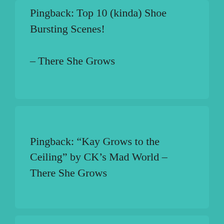Pingback: Top 10 (kinda) Shoe Bursting Scenes! – There She Grows
Pingback: “Kay Grows to the Ceiling” by CK’s Mad World – There She Grows
Pingback: Mainstream Fare #4 – Another 80s Edition Reviewing “Jekyll & Hyde Together